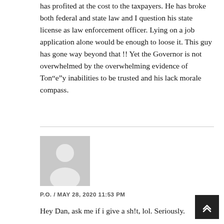has profited at the cost to the taxpayers. He has broke both federal and state law and I question his state license as law enforcement officer. Lying on a job application alone would be enough to loose it. This guy has gone way beyond that !! Yet the Governor is not overwhelmed by the overwhelming evidence of Ton“e”y inabilities to be trusted and his lack morale compass.
[Figure (illustration): Generic grey avatar/placeholder image of a person silhouette]
P.O. / MAY 28, 2020 11:53 PM
Hey Dan, ask me if i give a sh!t, lol. Seriously.